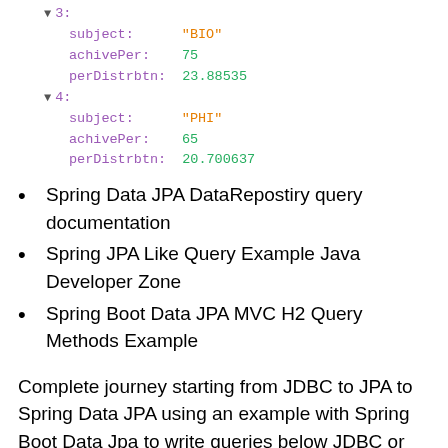[Figure (screenshot): Code output showing JSON-like structure with fields subject, achivePer, perDistrbtn for entries 3 and 4]
Spring Data JPA DataRepostiry query documentation
Spring JPA Like Query Example Java Developer Zone
Spring Boot Data JPA MVC H2 Query Methods Example
Complete journey starting from JDBC to JPA to Spring Data JPA using an example with Spring Boot Data Jpa to write queries below JDBC or Spring JDBC In